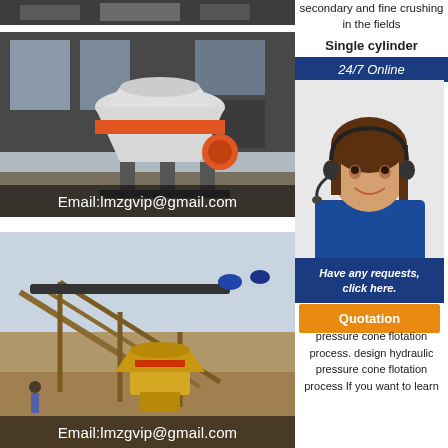[Figure (photo): Top partial machinery photo, dark tones]
[Figure (photo): Cone crusher machine (white/orange) inside warehouse building with Email:lmzgvip@gmail.com overlay]
[Figure (photo): Mining/quarry site with conveyor belts and yellow cone crusher machinery, Email:lmzgvip@gmail.com overlay]
secondary and fine crushing in the fields
Single cylinder
24/7 Online
[Figure (photo): Customer service agent woman with headset smiling]
Have any requests, click here.
Quotation
pressure cone flotation process. design hydraulic pressure cone flotation process If you want to learn